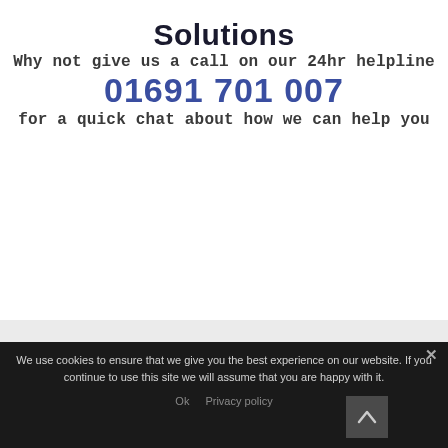Solutions
Why not give us a call on our 24hr helpline
01691 701 007
for a quick chat about how we can help you
We use cookies to ensure that we give you the best experience on our website. If you continue to use this site we will assume that you are happy with it.
Ok   Privacy policy